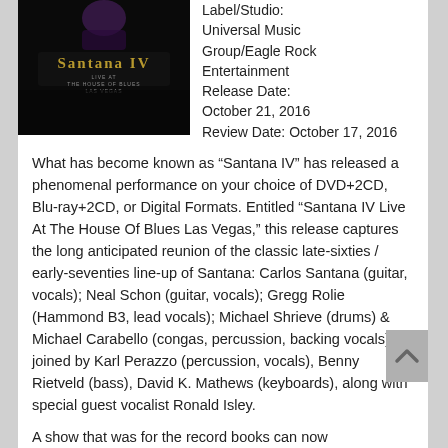[Figure (photo): Dark album cover for Santana IV Live at The House of Blues Las Vegas, showing the Santana IV logo text on black background]
Label/Studio: Universal Music Group/Eagle Rock Entertainment Release Date: October 21, 2016
Review Date: October 17, 2016
What has become known as “Santana IV” has released a phenomenal performance on your choice of DVD+2CD, Blu-ray+2CD, or Digital Formats. Entitled “Santana IV Live At The House Of Blues Las Vegas,” this release captures the long anticipated reunion of the classic late-sixties / early-seventies line-up of Santana: Carlos Santana (guitar, vocals); Neal Schon (guitar, vocals); Gregg Rolie (Hammond B3, lead vocals); Michael Shrieve (drums) & Michael Carabello (congas, percussion, backing vocals), joined by Karl Perazzo (percussion, vocals), Benny Rietveld (bass), David K. Mathews (keyboards), along with special guest vocalist Ronald Isley.
A show that was for the record books can now